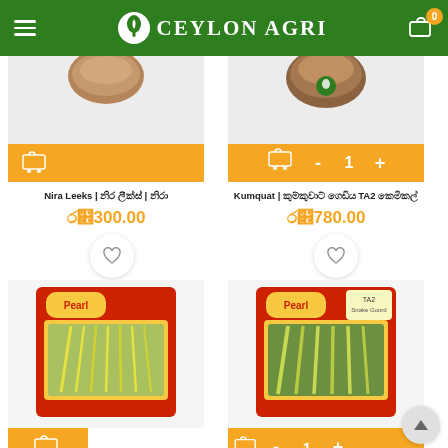Ceylon Agri
[Figure (screenshot): Product image for Nira Leeks (partially visible, brown/round top)]
[Figure (screenshot): Product image for Kumquat (partially visible, brown/round top with Ceylon Agri logo)]
Nira Leeks | නිර ලීක්ස් | නිරා
රු300.00
Kumquat | කුම්කුවාට් ගෙඩිය TA2 කෙමිකල්
රු780.00
[Figure (photo): Seed packet for Long Beans, red packaging with image of long beans]
[Figure (photo): Seed packet for Snake Gourd TA2, red packaging with image of snake gourds]
Long Beans | බෝංචි බීජ – මාළු
Snake Gourd | සර්ප්පයා – TA2